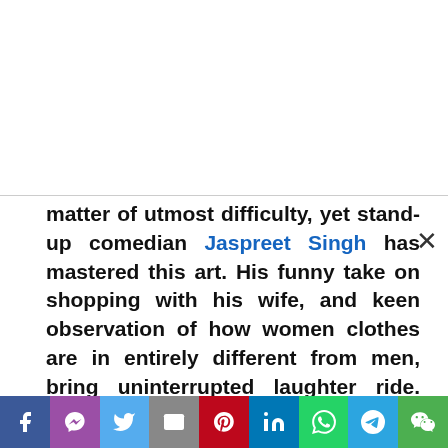matter of utmost difficulty, yet stand-up comedian Jaspreet Singh has mastered this art. His funny take on shopping with his wife, and keen observation of how women clothes are in entirely different from men, bring uninterrupted laughter ride. The best part of Jaspreet Singh's comedy is that it is not full of sexist puns or sexual innuendos, it's clean, cool and definitely a jetpack joyride.
This bit will not only make you laugh your heart out, as it has all the information you need to understand